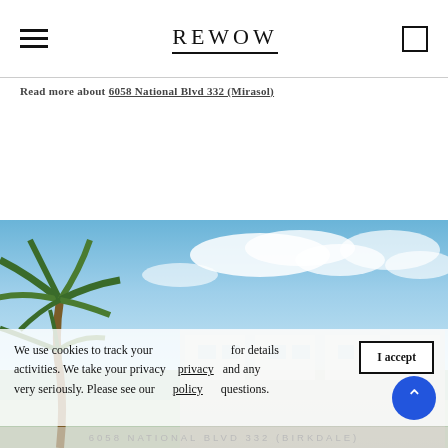REWOW
Read more about 6058 National Blvd 332 (Mirasol)
[Figure (photo): Exterior photo of a white multi-story residential building with palm trees and blue sky with clouds in the background]
We use cookies to track your activities. We take your privacy very seriously. Please see our privacy policy for details and any questions.
6058 NATIONAL BLVD 332 (BIRKDALE)